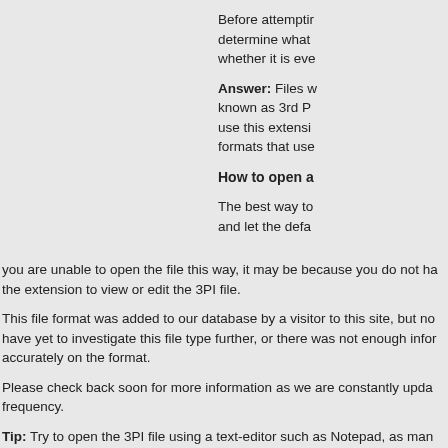Before attempting determine what whether it is eve
Answer: Files w known as 3rd P use this extensi formats that use
How to open a
The best way to and let the defa you are unable to open the file this way, it may be because you do not ha the extension to view or edit the 3PI file.
This file format was added to our database by a visitor to this site, but no have yet to investigate this file type further, or there was not enough infor accurately on the format.
Please check back soon for more information as we are constantly upda frequency.
Tip: Try to open the 3PI file using a text-editor such as Notepad, as man unformatted plain-text and can viewed correctly using this method.